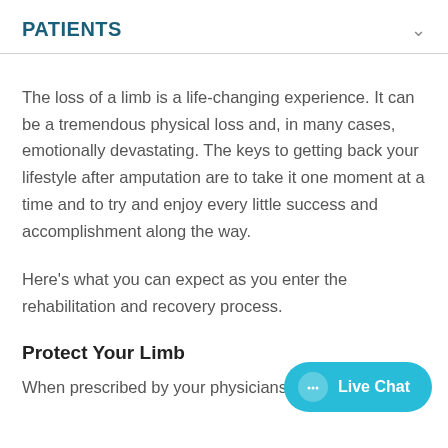PATIENTS
The loss of a limb is a life-changing experience. It can be a tremendous physical loss and, in many cases, emotionally devastating. The keys to getting back your lifestyle after amputation are to take it one moment at a time and to try and enjoy every little success and accomplishment along the way.
Here's what you can expect as you enter the rehabilitation and recovery process.
Protect Your Limb
When prescribed by your physicians, the use of a limb